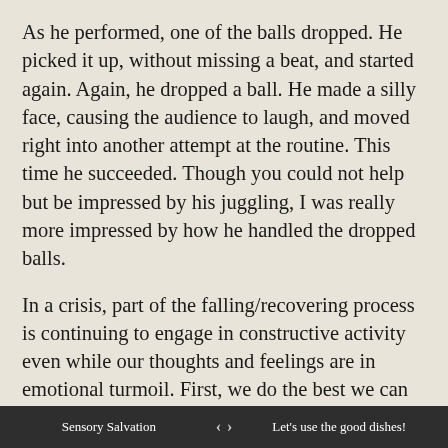As he performed, one of the balls dropped. He picked it up, without missing a beat, and started again. Again, he dropped a ball. He made a silly face, causing the audience to laugh, and moved right into another attempt at the routine. This time he succeeded. Though you could not help but be impressed by his juggling, I was really more impressed by how he handled the dropped balls.
In a crisis, part of the falling/recovering process is continuing to engage in constructive activity even while our thoughts and feelings are in emotional turmoil. First, we do the best we can to keep our foundation of daily activity healthy. We make our bed, shower and put on clean clothes, wash dishes and tend to those elements of life (children, gardens, pets) which need our support and attention.
Second, we take constructive steps, where possible, towards resolving or responding to the crisis situation. This may involve making an appointment to get a
Sensory Salvation   <   >   Let's use the good dishes!